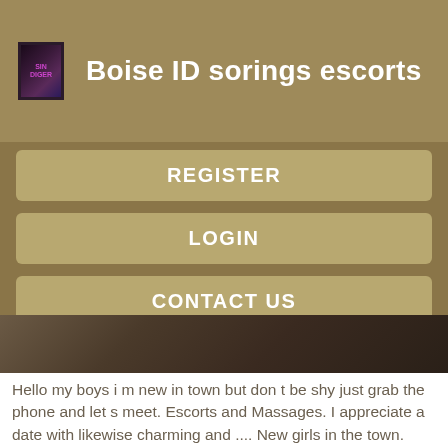Boise ID sorings escorts
REGISTER
LOGIN
CONTACT US
[Figure (photo): Partial photo of a person, cropped, brown tones, hair visible]
Hello my boys i m new in town but don t be shy just grab the phone and let s meet. Escorts and Massages. I appreciate a date with likewise charming and .... New girls in the town.
[Figure (photo): Partial photo of a person, dark hair visible, cropped at bottom of page]